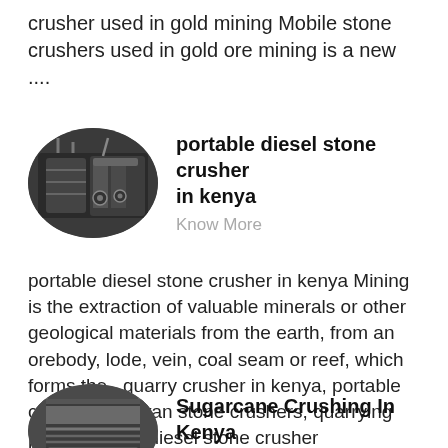crusher used in gold mining Mobile stone crushers used in gold ore mining is a new ....
[Figure (photo): Oval-shaped photo of an industrial stone crusher / mining equipment facility interior]
portable diesel stone crusher in kenya
Know More
portable diesel stone crusher in kenya Mining is the extraction of valuable minerals or other geological materials from the earth, from an orebody, lode, vein, coal seam or reef, which forms the , quarry crusher in kenya, portable crushers, kenyan stone crushers, quarrying plant, Zenith , diesel stone crusher Kenya,sand making plants ....
[Figure (photo): Oval-shaped photo of industrial crushing/screening machinery]
Sugarcane Crushing In Kenya
Know More